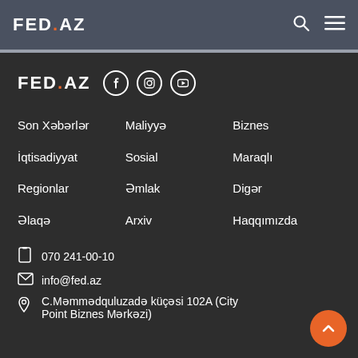FED.AZ
[Figure (logo): FED.AZ logo with social media icons (Facebook, Instagram, YouTube)]
Son Xəbərlər
Maliyyə
Biznes
İqtisadiyyat
Sosial
Maraqlı
Regionlar
Əmlak
Digər
Əlaqə
Arxiv
Haqqımızda
070 241-00-10
info@fed.az
C.Məmmədquluzadə küçəsi 102A (City Point Biznes Mərkəzi)